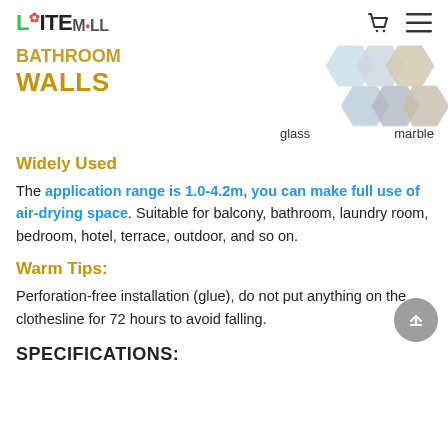LEITEMOLL
[Figure (illustration): Hero section showing hexagonal images of glass and marble bathroom wall materials on a white background, with partial orange/gold text 'BATHROOM WALLS' on the left.]
Widely Used
The application range is 1.0-4.2m, you can make full use of air-drying space. Suitable for balcony, bathroom, laundry room, bedroom, hotel, terrace, outdoor, and so on.
Warm Tips:
Perforation-free installation (glue), do not put anything on the clothesline for 72 hours to avoid falling.
SPECIFICATIONS: